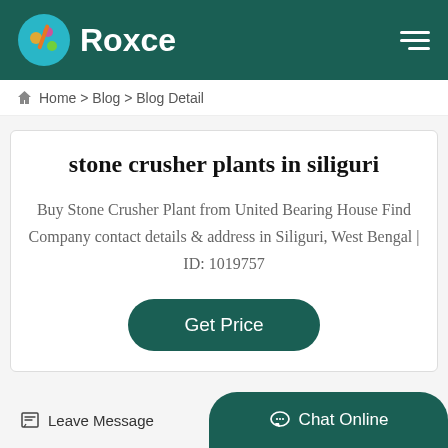Roxce
Home > Blog > Blog Detail
stone crusher plants in siliguri
Buy Stone Crusher Plant from United Bearing House Find Company contact details & address in Siliguri, West Bengal | ID: 1019757
Get Price
Leave Message
Chat Online